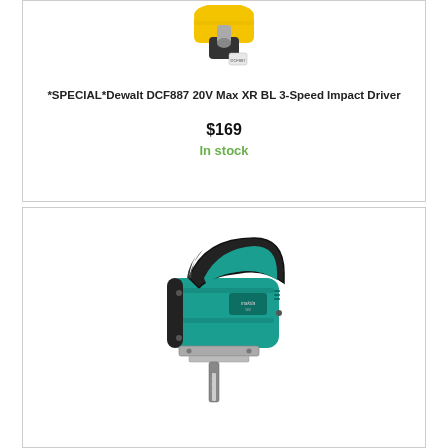[Figure (photo): Dewalt DCF887 20V Max XR BL 3-Speed Impact Driver product photo, partial view showing top of yellow power tool]
*SPECIAL*Dewalt DCF887 20V Max XR BL 3-Speed Impact Driver
$169
In stock
[Figure (photo): Makita cordless jigsaw in teal/green color with black grip handle, model shown from side angle]